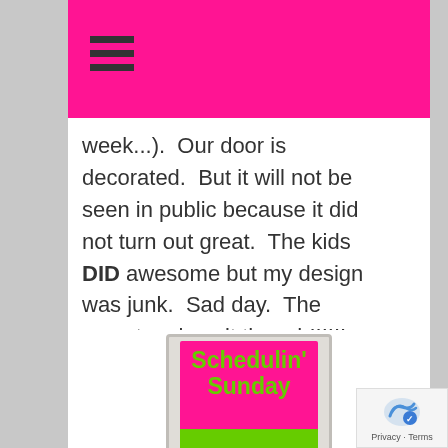Navigation menu (hamburger icon)
week...).  Our door is decorated.  But it will not be seen in public because it did not turn out great.  The kids DID awesome but my design was junk.  Sad day.  The monsters love it though!!!!!!
Instead we are celebrating fairy tales!  So..."Once Upon A Time..." here is (although short!) Schedulin Sunday!
[Figure (illustration): A pink greeting card with green text reading 'Schedulin' Sunday' and a green decorative element at the bottom, shown against a light grey card background.]